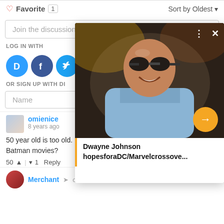♡ Favorite 1   Sort by Oldest ▾
Join the discussion...
LOG IN WITH
[Figure (illustration): Three social login icons: Disqus (blue circle with D), Facebook (dark blue circle with f), Twitter (light blue circle with bird)]
OR SIGN UP WITH DI
Name
[Figure (photo): Popup card showing Dwayne Johnson wearing sunglasses and a light blue suit, smiling, with overlay controls (dots, X) and an orange arrow button. Caption reads: Dwayne Johnson hopesforaDC/Marvelcrossove...]
omienice
8 years ago
50 year old is too old. I mean how old will he be in JL or other Batman movies?
50 ▲ | ▾ 1  Reply
Merchant ➤ omienice